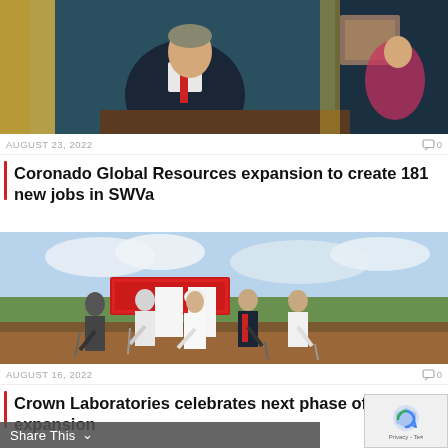[Figure (photo): Portrait photo of a man in dark suit with red tie seated at a desk in an official office setting with gold curtains in background]
AUGUST 23, 2022   0
Coronado Global Resources expansion to create 181 new jobs in SWVa
[Figure (photo): Groundbreaking ceremony with several people holding shovels in a dirt field with a banner sign visible in background]
AUGUST 16, 2022   0
Crown Laboratories celebrates next phase of expansion